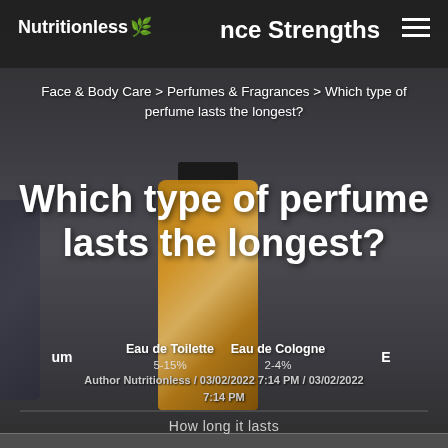Nutritionless 🌿 Fragrance Strengths
Face & Body Care > Perfumes & Fragrances > Which type of perfume lasts the longest?
[Figure (photo): Background showing perfume bottles including a golden bottle, a teal bottle, and a blue bottle arranged on a dark background]
Which type of perfume lasts the longest?
um    Eau de Toilette 5-15%    Eau de Cologne 2-4%    E
Author Nutritionless / 03/02/2022 7:14 PM / 03/02/2022 7:14 PM
How long it lasts